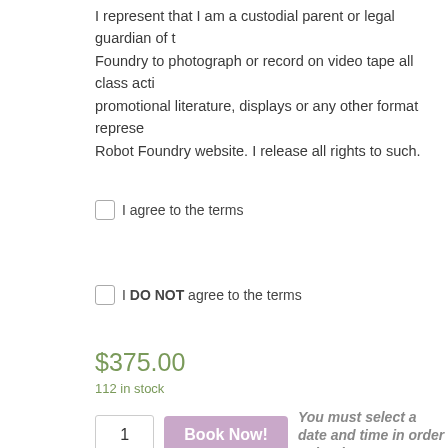I represent that I am a custodial parent or legal guardian of t… Foundry to photograph or record on video tape all class acti… promotional literature, displays or any other format represe… Robot Foundry website. I release all rights to such.
I agree to the terms
I DO NOT agree to the terms
$375.00
112 in stock
1   Book Now!   You must select a date and time in order to book
Categories: 11 years, 12 years, Multi-Day, Summer, Summer C…